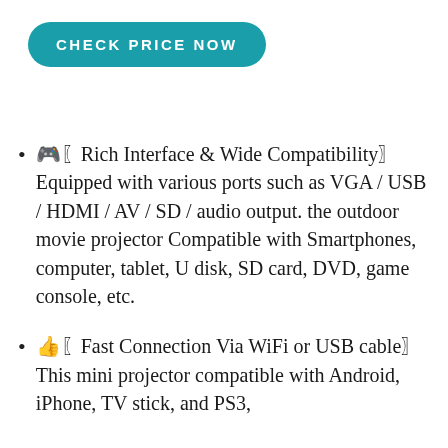CHECK PRICE NOW
🎮〖Rich Interface & Wide Compatibility〗Equipped with various ports such as VGA / USB / HDMI / AV / SD / audio output. the outdoor movie projector Compatible with Smartphones, computer, tablet, U disk, SD card, DVD, game console, etc.
👍〖Fast Connection Via WiFi or USB cable〗This mini projector compatible with Android, iPhone, TV stick, and PS3,